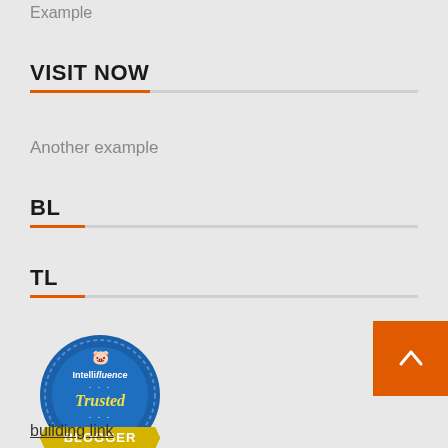Example
VISIT NOW
Another example
BL
TL
[Figure (logo): Intellifluence Trusted Blogger badge - circular blue badge with yellow ribbon banner saying BLOGGER]
building link